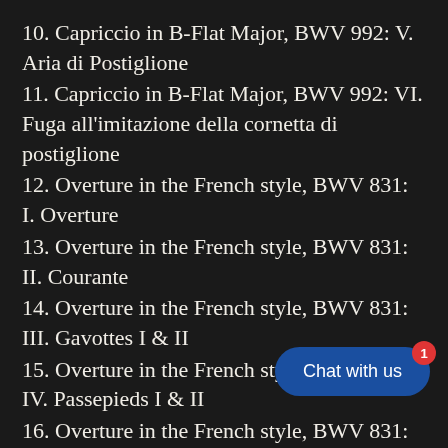10. Capriccio in B-Flat Major, BWV 992: V. Aria di Postiglione
11. Capriccio in B-Flat Major, BWV 992: VI. Fuga all'imitazione della cornetta di postiglione
12. Overture in the French style, BWV 831: I. Overture
13. Overture in the French style, BWV 831: II. Courante
14. Overture in the French style, BWV 831: III. Gavottes I & II
15. Overture in the French style, BWV 831: IV. Passepieds I & II
16. Overture in the French style, BWV 831: V. Sarabande
17. Overture in the French style, BWV 831: VI. Bourrées I & II
18. Overture in the French style, BWV 831: